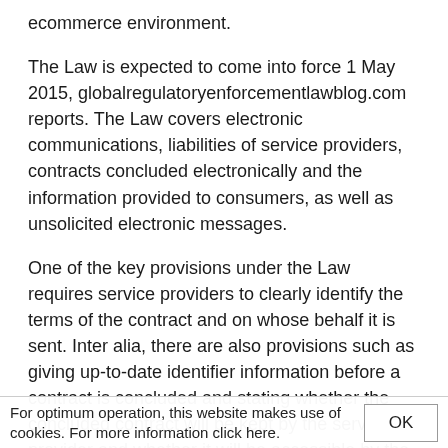ecommerce environment.
The Law is expected to come into force 1 May 2015, globalregulatoryenforcementlawblog.com reports. The Law covers electronic communications, liabilities of service providers, contracts concluded electronically and the information provided to consumers, as well as unsolicited electronic messages.
One of the key provisions under the Law requires service providers to clearly identify the terms of the contract and on whose behalf it is sent. Inter alia, there are also provisions such as giving up-to-date identifier information before a contract is concluded and stating whether the concluded contract will be kept by the service provider and whether it will be accessible by the recipient and, if so, for how long. This information must be clearly communicated before and after the formation of the contract if such
For optimum operation, this website makes use of cookies. For more information click here.